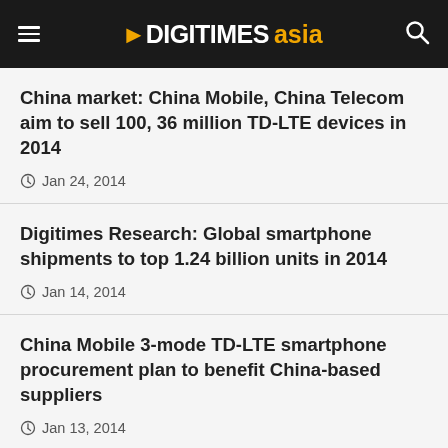DIGITIMES asia
China market: China Mobile, China Telecom aim to sell 100, 36 million TD-LTE devices in 2014
Jan 24, 2014
Digitimes Research: Global smartphone shipments to top 1.24 billion units in 2014
Jan 14, 2014
China Mobile 3-mode TD-LTE smartphone procurement plan to benefit China-based suppliers
Jan 13, 2014
Related topics
JOIN OUR MAILING LIST